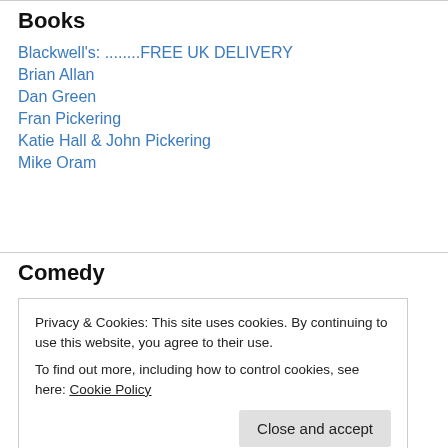Books
Blackwell's: ........FREE UK DELIVERY
Brian Allan
Dan Green
Fran Pickering
Katie Hall & John Pickering
Mike Oram
Comedy
Aidan Killian
Privacy & Cookies: This site uses cookies. By continuing to use this website, you agree to their use.
To find out more, including how to control cookies, see here: Cookie Policy
Close and accept
Steve Hughes YouTube